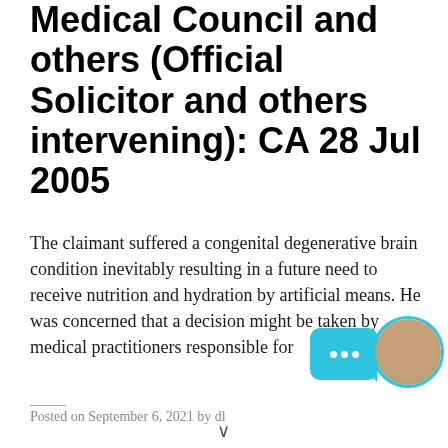Medical Council and others (Official Solicitor and others intervening): CA 28 Jul 2005
The claimant suffered a congenital degenerative brain condition inevitably resulting in a future need to receive nutrition and hydration by artificial means. He was concerned that a decision might be taken by medical practitioners responsible for
Posted on September 6, 2021 by dl...